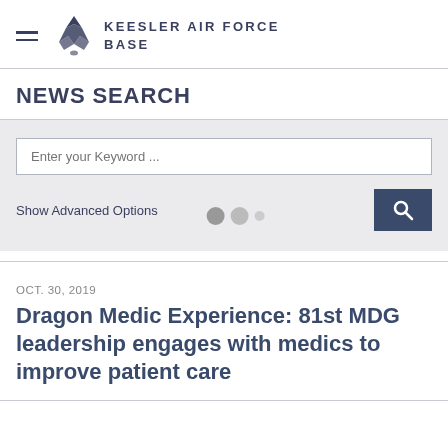Keesler Air Force Base
NEWS SEARCH
Enter your Keyword ...
Show Advanced Options
OCT. 30, 2019
Dragon Medic Experience: 81st MDG leadership engages with medics to improve patient care